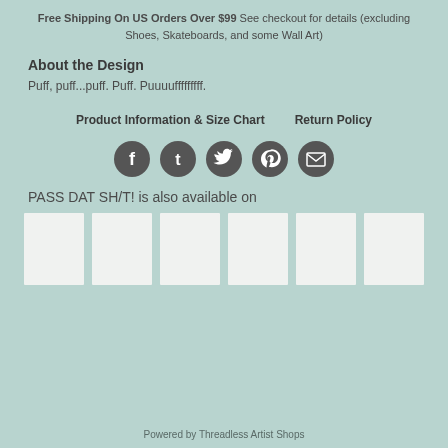Free Shipping On US Orders Over $99 See checkout for details (excluding Shoes, Skateboards, and some Wall Art)
About the Design
Puff, puff...puff. Puff. Puuuufffffffff.
Product Information & Size Chart    Return Policy
[Figure (infographic): Social media share icons: Facebook, Tumblr, Twitter, Pinterest, Email — dark grey circular buttons]
PASS DAT SH/T! is also available on
[Figure (illustration): Six white thumbnail product preview boxes]
Powered by Threadless Artist Shops